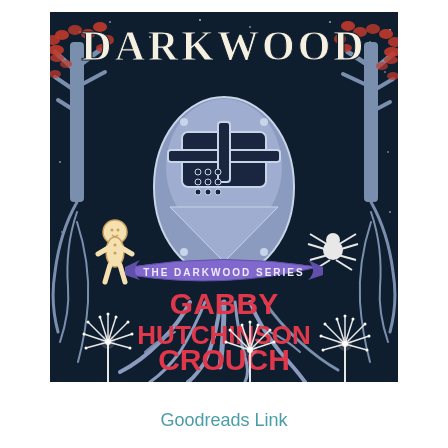[Figure (illustration): Book cover of 'Darkwood' from The Darkwood Series by Gabby Hutchinson Crouch. Dark navy background with illustrated knight helmet/shield in purple-grey, red-leafed trees on either side, a small gingerbread person figure on the left, a spider on the right, gnarled roots at the bottom, and dandelion-like sparkle flowers. Title 'DARKWOOD' in large cream letters at top, series name 'THE DARKWOOD SERIES' on a purple banner ribbon, author name 'GABBY HUTCHINSON CROUCH' in bold red letters at bottom.]
Goodreads Link